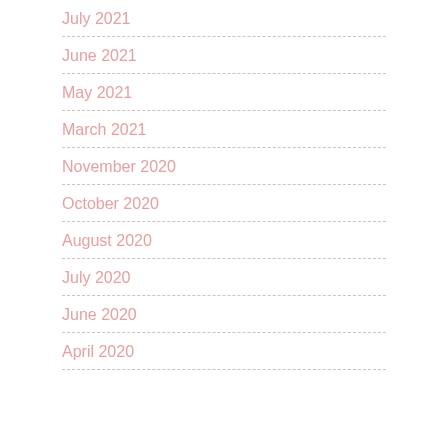July 2021
June 2021
May 2021
March 2021
November 2020
October 2020
August 2020
July 2020
June 2020
April 2020